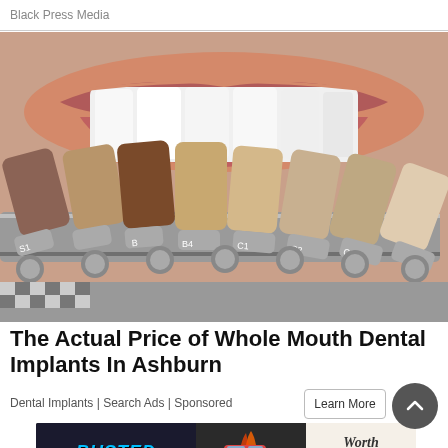Black Press Media
[Figure (photo): Close-up photo of a person smiling with white teeth, with a dental shade guide showing multiple tooth-colored samples labeled S1, B, B4, C1, C2, C3 arranged in a fan in the foreground.]
The Actual Price of Whole Mouth Dental Implants In Ashburn
Dental Implants | Search Ads | Sponsored
[Figure (photo): Advertisement banner for Busted Ladies Lingerie with a vintage car image and text 'Worth The Drive' and 'PONOKA, AB']